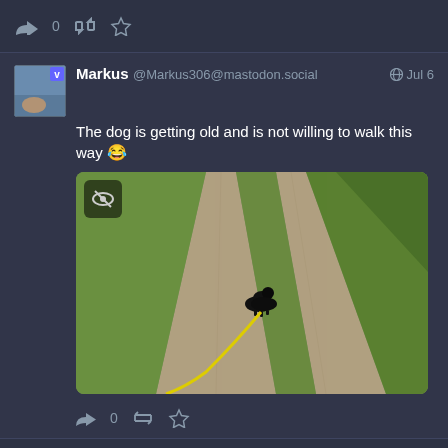[Figure (screenshot): Social media action bar with reply, retweet, and star icons; count 0]
Markus @Markus306@mastodon.social  Jul 6
The dog is getting old and is not willing to walk this way 😂
[Figure (photo): Photo of a small black dog on a dirt path with green grass on both sides, being held back on a yellow leash]
0 (reply count with action icons)
Markus boosted
Grüne Börde @boerde@gruene.social  Jul 5